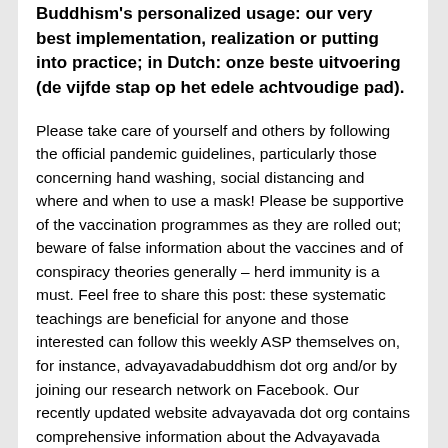Buddhism's personalized usage: our very best implementation, realization or putting into practice; in Dutch: onze beste uitvoering (de vijfde stap op het edele achtvoudige pad).
Please take care of yourself and others by following the official pandemic guidelines, particularly those concerning hand washing, social distancing and where and when to use a mask! Please be supportive of the vaccination programmes as they are rolled out; beware of false information about the vaccines and of conspiracy theories generally – herd immunity is a must. Feel free to share this post: these systematic teachings are beneficial for anyone and those interested can follow this weekly ASP themselves on, for instance, advayavadabuddhism dot org and/or by joining our research network on Facebook. Our recently updated website advayavada dot org contains comprehensive information about the Advayavada understanding of Buddhism and has a handy search box at the bottom of each page.
[Figure (other): Three social media sharing buttons: Facebook (blue), Twitter (blue), and Share (blue) icons]